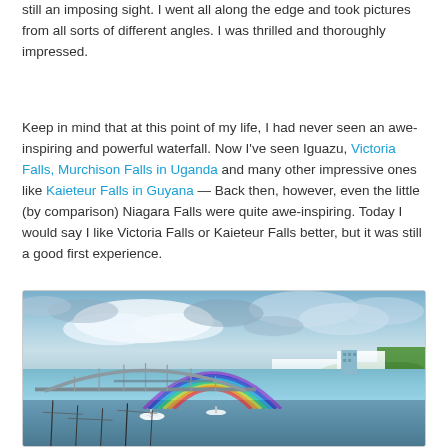still an imposing sight. I went all along the edge and took pictures from all sorts of different angles. I was thrilled and thoroughly impressed.
Keep in mind that at this point of my life, I had never seen an awe-inspiring and powerful waterfall. Now I've seen Iguazu, Victoria Falls, Murchison Falls in Uganda and many other impressive ones like Kaieteur Falls in Guyana — Back then, however, even the little (by comparison) Niagara Falls were quite awe-inspiring. Today I would say I like Victoria Falls or Kaieteur Falls better, but it was still a good first experience.
[Figure (photo): A vibrant HDR-style photograph of Niagara Falls showing the falls on the right, a rainbow in the mist, an arched bridge (Rainbow Bridge) on the left spanning the gorge, dramatic cloudy sky, and boats on the water in the foreground.]